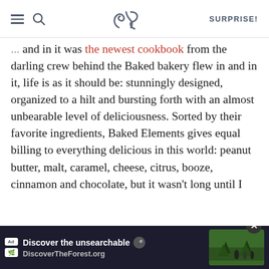SK | SURPRISE!
and in it was the newest cookbook from the darling crew behind the Baked bakery flew in and in it, life is as it should be: stunningly designed, organized to a hilt and bursting forth with an almost unbearable level of deliciousness. Sorted by their favorite ingredients, Baked Elements gives equal billing to everything delicious in this world: peanut butter, malt, caramel, cheese, citrus, booze, cinnamon and chocolate, but it wasn't long until I honed on the pumpkin cinnamon rolls. Because while I was elbow-deep in a pile of disorganized gift bags (how did we ever live like this before? I bet you're asking, too), October arrived and it demands things like scarves and leaves and cider and a kitchen ... that frights ... to stop
[Figure (screenshot): Advertisement banner for DiscoverTheForest.org showing 'Discover the unsearchable' with forest image and close button]